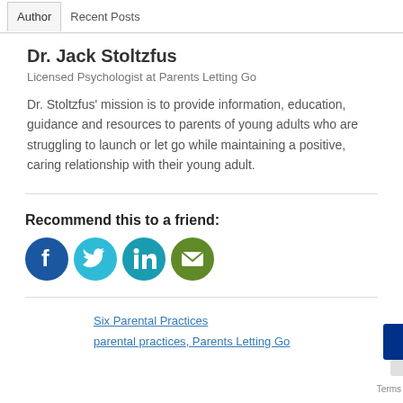Author   Recent Posts
Dr. Jack Stoltzfus
Licensed Psychologist at Parents Letting Go
Dr. Stoltzfus’ mission is to provide information, education, guidance and resources to parents of young adults who are struggling to launch or let go while maintaining a positive, caring relationship with their young adult.
Recommend this to a friend:
[Figure (infographic): Social sharing icons: Facebook (dark blue circle), Twitter (light blue circle), LinkedIn (teal circle), Email (olive/green circle)]
Six Parental Practices
parental practices,  Parents Letting Go